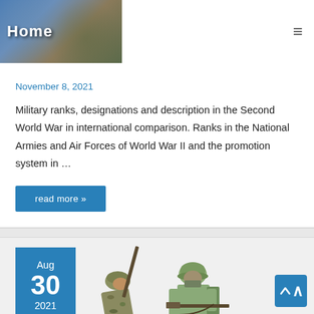[Figure (illustration): Website header/logo with military-themed background image showing tanks and aircraft, with 'Home' text overlay in white bold font]
November 8, 2021
Military ranks, designations and description in the Second World War in international comparison. Ranks in the National Armies and Air Forces of World War II and the promotion system in …
read more »
[Figure (illustration): Date badge showing Aug 30 2021 in blue box, with illustration of three WWII soldiers in uniform with weapons]
≡